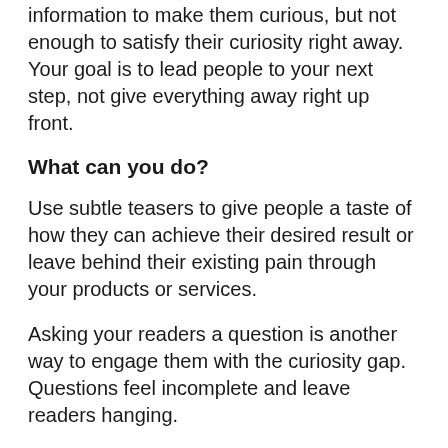information to make them curious, but not enough to satisfy their curiosity right away. Your goal is to lead people to your next step, not give everything away right up front.
What can you do?
Use subtle teasers to give people a taste of how they can achieve their desired result or leave behind their existing pain through your products or services.
Asking your readers a question is another way to engage them with the curiosity gap. Questions feel incomplete and leave readers hanging.
Using a question will inspire people to open your email or click through your content in